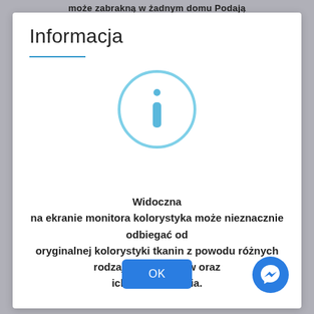może zabrakną w żadnym domu Podają
Informacja
[Figure (illustration): Information icon: a circle with a lowercase 'i' inside, rendered in light blue]
Widoczna na ekranie monitora kolorystyka może nieznacznie odbiegać od oryginalnej kolorystyki tkanin z powodu różnych rodzajów monitorów oraz ich skalibrowania.
[Figure (other): OK button: blue rounded rectangle with white text 'OK']
[Figure (logo): Facebook Messenger icon: blue circle with white lightning-bolt messenger logo]